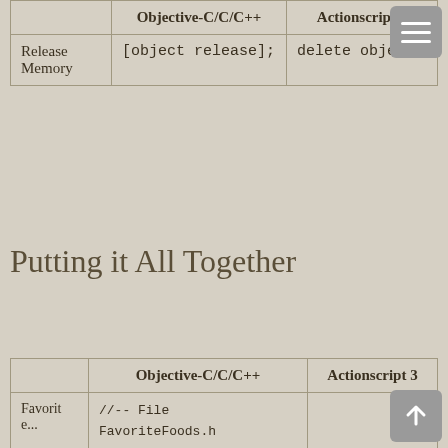|  | Objective-C/C/C++ | Actionscript 3 |
| --- | --- | --- |
| Release Memory | [object release]; | delete object; |
Putting it All Together
|  | Objective-C/C/C++ | Actionscript 3 |
| --- | --- | --- |
| Favorite... | //-- File FavoriteFoods.h

@interface FavoriteFoods : NSObject {

NSMutableArray *foods;

}

@property (nonatomic, |  |